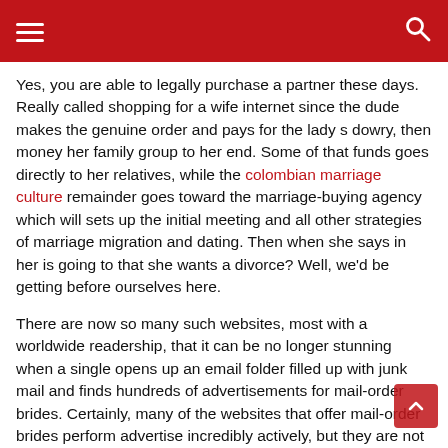≡  🔍
Yes, you are able to legally purchase a partner these days. Really called shopping for a wife internet since the dude makes the genuine order and pays for the lady s dowry, then money her family group to her end. Some of that funds goes directly to her relatives, while the colombian marriage culture remainder goes toward the marriage-buying agency which will sets up the initial meeting and all other strategies of marriage migration and dating. Then when she says in her is going to that she wants a divorce? Well, we'd be getting before ourselves here.
There are now so many such websites, most with a worldwide readership, that it can be no longer stunning when a single opens up an email folder filled up with junk mail and finds hundreds of advertisements for mail-order brides. Certainly, many of the websites that offer mail-order brides perform advertise incredibly actively, but they are not pretending to be something they're not. All things considered, anyone who is even moderately adept at using the internet may realize that these sites are scams